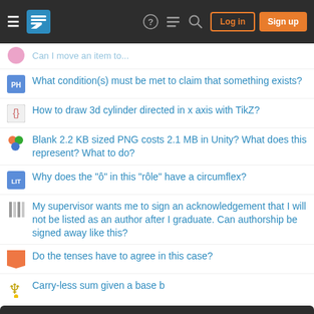Stack Exchange navigation header with Log in and Sign up buttons
What condition(s) must be met to claim that something exists?
How to draw 3d cylinder directed in x axis with TikZ?
Blank 2.2 KB sized PNG costs 2.1 MB in Unity? What does this represent? What to do?
Why does the "ô" in this "rôle" have a circumflex?
My supervisor wants me to sign an acknowledgement that I will not be listed as an author after I graduate. Can authorship be signed away like this?
Do the tenses have to agree in this case?
Carry-less sum given a base b
Your privacy
By clicking "Accept all cookies", you agree Stack Exchange can store cookies on your device and disclose information in accordance with our Cookie Policy.
Accept all cookies | Customize settings